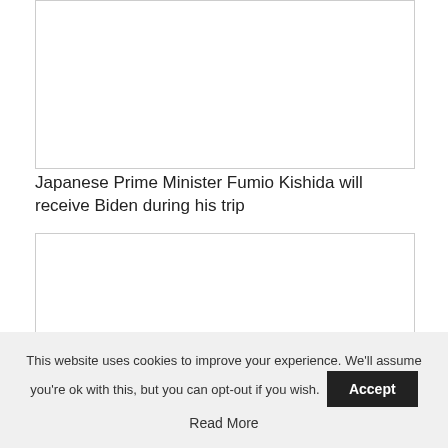[Figure (photo): Empty white image box at the top of the page]
Japanese Prime Minister Fumio Kishida will receive Biden during his trip
[Figure (photo): Empty white image box below the caption]
This website uses cookies to improve your experience. We'll assume you're ok with this, but you can opt-out if you wish. Accept Read More